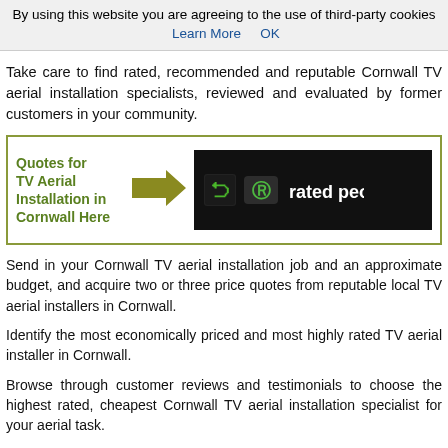By using this website you are agreeing to the use of third-party cookies  Learn More    OK
Take care to find rated, recommended and reputable Cornwall TV aerial installation specialists, reviewed and evaluated by former customers in your community.
[Figure (infographic): A bordered box containing text 'Quotes for TV Aerial Installation in Cornwall Here' in green bold font, a gold/olive arrow pointing right, and the Rated People logo (dark background with green R symbol and white 'rated people' text).]
Send in your Cornwall TV aerial installation job and an approximate budget, and acquire two or three price quotes from reputable local TV aerial installers in Cornwall.
Identify the most economically priced and most highly rated TV aerial installer in Cornwall.
Browse through customer reviews and testimonials to choose the highest rated, cheapest Cornwall TV aerial installation specialist for your aerial task.